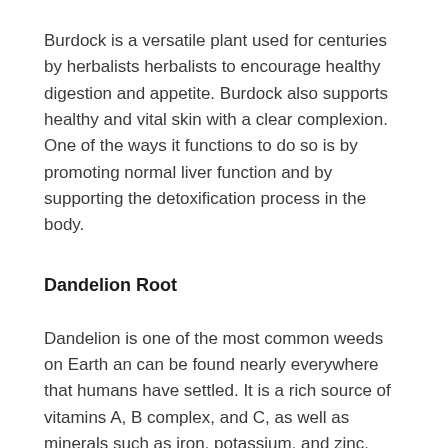Burdock is a versatile plant used for centuries by herbalists herbalists to encourage healthy digestion and appetite. Burdock also supports healthy and vital skin with a clear complexion. One of the ways it functions to do so is by promoting normal liver function and by supporting the detoxification process in the body.
Dandelion Root
Dandelion is one of the most common weeds on Earth an can be found nearly everywhere that humans have settled. It is a rich source of vitamins A, B complex, and C, as well as minerals such as iron, potassium, and zinc.
Traditionally, dandelion roots have been used to...